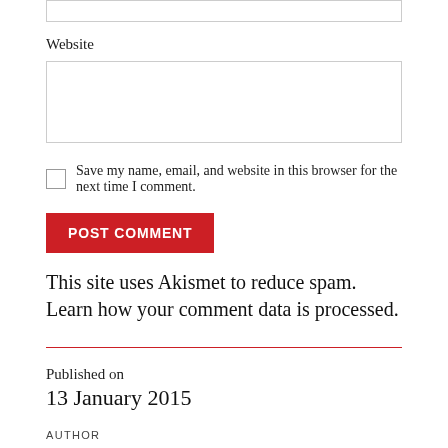Website
Save my name, email, and website in this browser for the next time I comment.
POST COMMENT
This site uses Akismet to reduce spam. Learn how your comment data is processed.
Published on
13 January 2015
AUTHOR
MassisPost